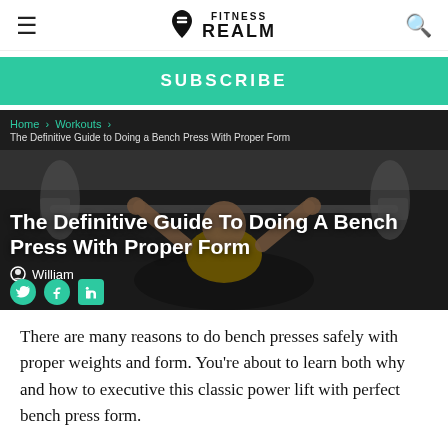FITNESS REALM
[Figure (screenshot): Green SUBSCRIBE button bar]
[Figure (photo): Hero image showing a woman doing bench press in a gym, with breadcrumb navigation 'Home > Workouts >', article title overlay 'The Definitive Guide to Doing a Bench Press With Proper Form', author 'William', and social share icons for Twitter, Facebook, LinkedIn]
The Definitive Guide To Doing A Bench Press With Proper Form
There are many reasons to do bench presses safely with proper weights and form. You're about to learn both why and how to executive this classic power lift with perfect bench press form.